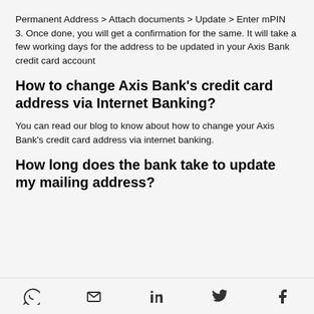Permanent Address > Attach documents > Update > Enter mPIN
3. Once done, you will get a confirmation for the same. It will take a few working days for the address to be updated in your Axis Bank credit card account
How to change Axis Bank's credit card address via Internet Banking?
You can read our blog to know about how to change your Axis Bank's credit card address via internet banking.
How long does the bank take to update my mailing address?
Social share icons: WhatsApp, Email, LinkedIn, Twitter, Facebook